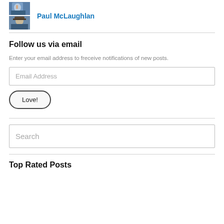[Figure (photo): Profile photo of Paul McLaughlan — two stacked small photos of a man]
Paul McLaughlan
Follow us via email
Enter your email address to freceive notifications of new posts.
Email Address
Love!
Search
Top Rated Posts